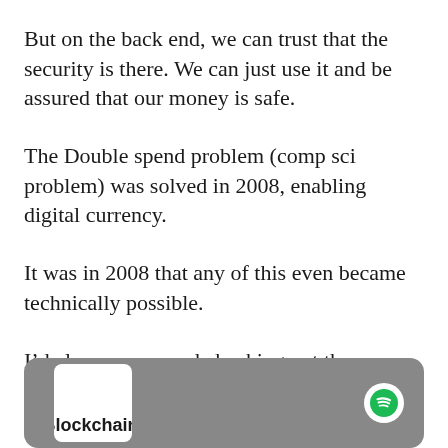But on the back end, we can trust that the security is there. We can just use it and be assured that our money is safe.
The Double spend problem (comp sci problem) was solved in 2008, enabling digital currency.
It was in 2008 that any of this even became technically possible.
I’d also recommend checking out the Simplified Explainer episode from the Web3 Experience Podcast:
[Figure (screenshot): Spotify podcast widget showing a podcast episode with album art labeled 'Blockchain,' and the Spotify logo on a grey rounded rectangle background.]